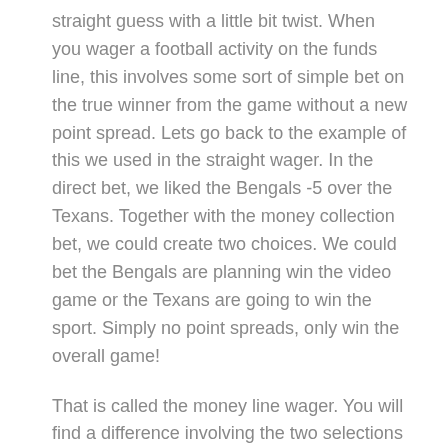straight guess with a little bit twist. When you wager a football activity on the funds line, this involves some sort of simple bet on the true winner from the game without a new point spread. Lets go back to the example of this we used in the straight wager. In the direct bet, we liked the Bengals -5 over the Texans. Together with the money collection bet, we could create two choices. We could bet the Bengals are planning win the video game or the Texans are going to win the sport. Simply no point spreads, only win the overall game!
That is called the money line wager. You will find a difference involving the two selections though. If you decide to wager on the favorite, you must guess more than you endure to win. Typically the reason for this really is you are having away the purpose pass on and making it simpler in order to win the wager. If on the other hand, you decide to choose the underdog, you are saying the underdog is heading to win the particular